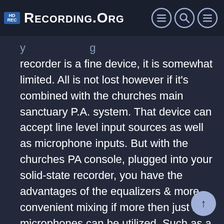Recording.org
recorder is a fine device, it is somewhat limited. All is not lost however if it's combined with the churches main sanctuary P.A. system. That device can accept line level input sources as well as microphone inputs. But with the churches PA console, plugged into your solid-state recorder, you have the advantages of the equalizers & more convenient mixing if more then just 2 microphones can be utilized. Such as a pair on the choir and a highlight microphone for the keyboard or direct input. You'll be much better off with the acoustics in the main sanctuary and the sound will melt together